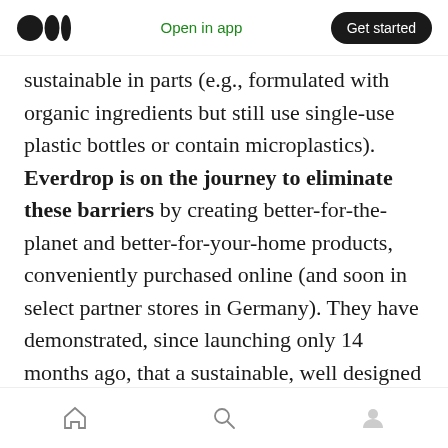Medium logo | Open in app | Get started
sustainable in parts (e.g., formulated with organic ingredients but still use single-use plastic bottles or contain microplastics). Everdrop is on the journey to eliminate these barriers by creating better-for-the-planet and better-for-your-home products, conveniently purchased online (and soon in select partner stores in Germany). They have demonstrated, since launching only 14 months ago, that a sustainable, well designed household can be accessible to everyone.
Crafting products with a story
Home | Search | Profile